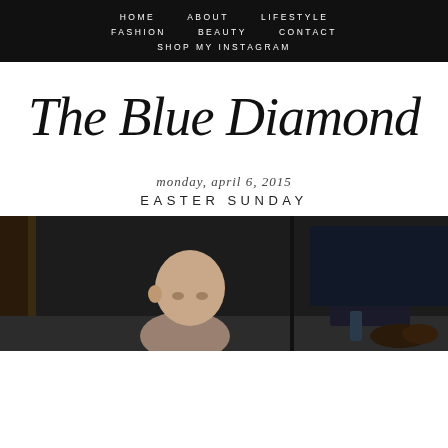HOME  ABOUT  LIFESTYLE  FASHION  BEAUTY  CONTACT  SHOP MY INSTAGRAM
The Blue Diamond
monday, april 6, 2015
EASTER SUNDAY
[Figure (photo): A baby/toddler sitting at a table, photographed indoors in a dark room setting. The photo is in color but low light.]